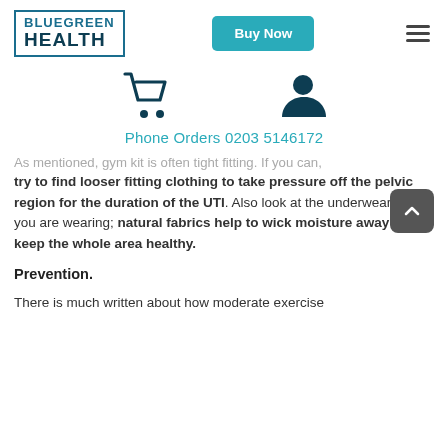BLUEGREEN HEALTH | Buy Now
[Figure (infographic): Shopping cart icon and user/person icon in dark blue]
Phone Orders 0203 5146172
As mentioned, gym kit is often tight fitting. If you can, try to find looser fitting clothing to take pressure off the pelvic region for the duration of the UTI. Also look at the underwear which you are wearing; natural fabrics help to wick moisture away and keep the whole area healthy.
Prevention.
There is much written about how moderate exercise